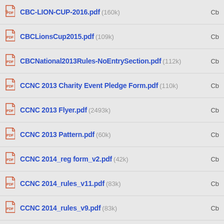CBC-LION-CUP-2016.pdf (160k)
CBCLionsCup2015.pdf (109k)
CBCNational2013Rules-NoEntrySection.pdf (112k)
CCNC 2013 Charity Event Pledge Form.pdf (110k)
CCNC 2013 Flyer.pdf (2493k)
CCNC 2013 Pattern.pdf (60k)
CCNC 2014_reg form_v2.pdf (42k)
CCNC 2014_rules_v11.pdf (83k)
CCNC 2014_rules_v9.pdf (83k)
CCNC 2015_rules_v7.pdf (143k)
CCNC 2015_rules_v8.pdf (261k)